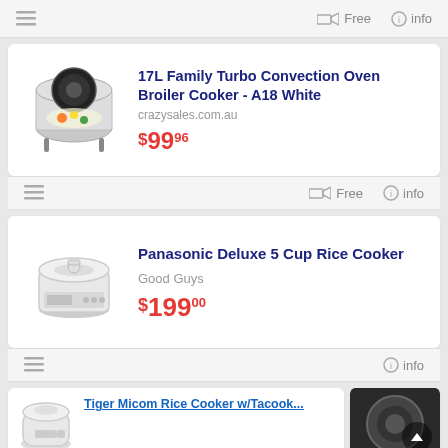menu | Free shipping | info
[Figure (photo): 17L Family Turbo Convection Oven Broiler product image]
17L Family Turbo Convection Oven Broiler Cooker - A18 White
crazysales.com.au
$99.96
menu | Free shipping | info
[Figure (photo): Panasonic Deluxe 5 Cup Rice Cooker product image]
Panasonic Deluxe 5 Cup Rice Cooker
Good Guys
$199.00
menu | info
[Figure (photo): Tiger Micom Rice Cooker w/Tacook product image (partial)]
Tiger Micom Rice Cooker w/Tacook...
[Figure (photo): Second product image partial view on right]